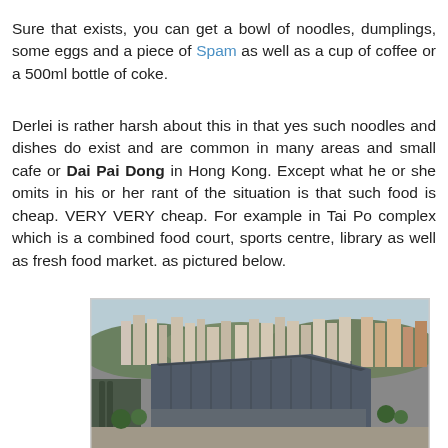Sure that exists, you can get a bowl of noodles, dumplings, some eggs and a piece of Spam as well as a cup of coffee or a 500ml bottle of coke.
Derlei is rather harsh about this in that yes such noodles and dishes do exist and are common in many areas and small cafe or Dai Pai Dong in Hong Kong. Except what he or she omits in his or her rant of the situation is that such food is cheap. VERY VERY cheap. For example in Tai Po complex which is a combined food court, sports centre, library as well as fresh food market. as pictured below.
[Figure (photo): Aerial photograph of Tai Po complex showing a large modern multi-story building with a distinctive angular roof, surrounded by high-rise residential buildings, greenery, and urban infrastructure in Hong Kong.]